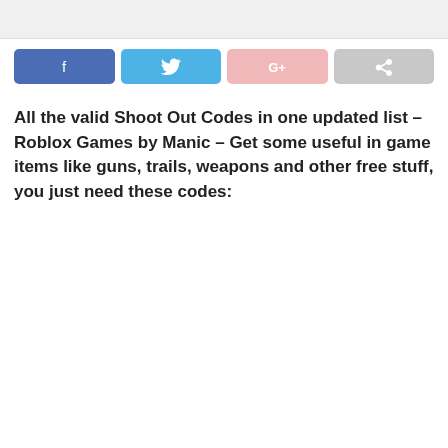[Figure (other): Light gray horizontal banner/bar at top of page]
[Figure (infographic): Four social share buttons in a row: Facebook (blue), Twitter (light blue), Google+ (pink), Share (gray) with corresponding icons]
All the valid Shoot Out Codes in one updated list – Roblox Games by Manic – Get some useful in game items like guns, trails, weapons and other free stuff, you just need these codes: